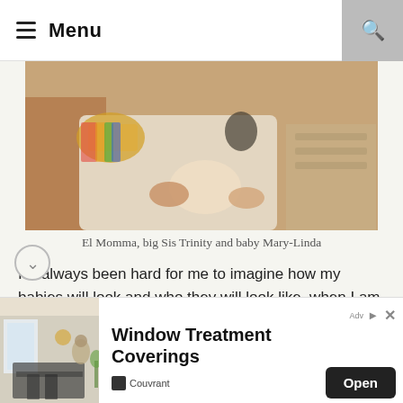Menu
[Figure (photo): Close-up photo of adults and a newborn baby, hands visible, warm tones]
El Momma, big Sis Trinity and baby Mary-Linda
It's always been hard for me to imagine how my babies will look and who they will look like, when I am pregnant. It was the same when we were expecting our second daughter in the ner of 2017. I knew she would look like an El. But, would
[Figure (screenshot): Advertisement banner: Window Treatment Coverings with Open button, Couvrant brand]